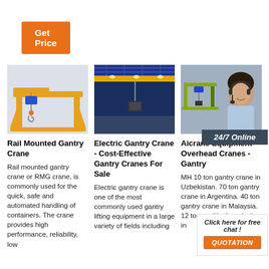[Figure (other): Orange 'Get Price' button]
[Figure (photo): Yellow rail mounted gantry crane with blue hoist on light grey background]
Rail Mounted Gantry Crane
Rail mounted gantry crane or RMG crane, is commonly used for the quick, safe and automated handling of containers. The crane provides high performance, reliability, low
[Figure (photo): Electric overhead gantry crane inside industrial building with blue steel structure]
Electric Gantry Crane - Cost-Effective Gantry Cranes For Sale
Electric gantry crane is one of the most commonly used gantry lifting equipment in a large variety of fields including
[Figure (photo): Aicrane equipment overhead cranes - gantry; customer service representative with headset; 24/7 Online banner; Click here for free chat and QUOTATION button]
Aicrane Equipment Overhead Cranes - Gantry
MH 10 ton gantry crane in Uzbekistan. 70 ton gantry crane in Argentina. 40 ton gantry crane in Malaysia. 12 ton positioning winch in